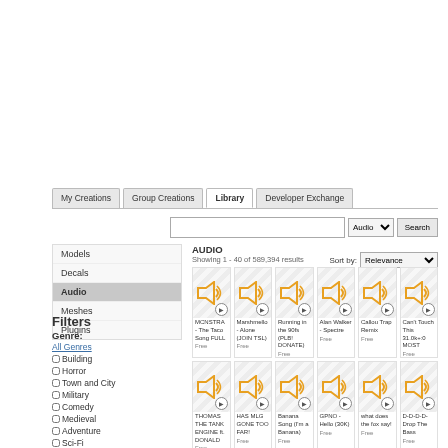[Figure (screenshot): Roblox Studio Library page showing audio assets. Navigation tabs: My Creations, Group Creations, Library, Developer Exchange. Search bar with Audio dropdown. Left sidebar with Models/Decals/Audio/Meshes/Plugins menu and Filters section with Genre checkboxes. Main area shows AUDIO results grid with 18 audio cards each showing speaker icon, title, and Free label.]
My Creations | Group Creations | Library | Developer Exchange
Audio | Search
AUDIO
Showing 1 - 40 of 589,394 results
Sort by: Relevance
Models
Decals
Audio
Meshes
Plugins
Filters
Genre:
All Genres
Building
Horror
Town and City
Military
Comedy
Medieval
Adventure
Sci-Fi
Naval
FPS
RPG
Sports